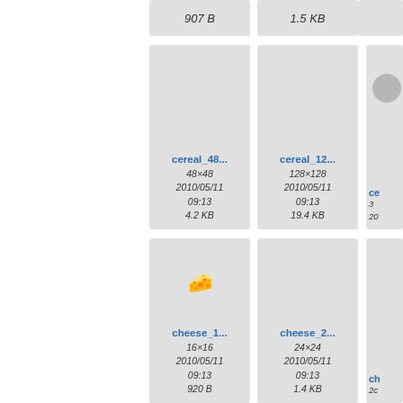[Figure (screenshot): File browser grid view showing image file thumbnails with names, dimensions, dates, and sizes. Top row (partial): two cells showing '907 B' and '1.5 KB'. Second row: cereal_48... (48×48, 2010/05/11 09:13, 4.2 KB), cereal_12... (128×128, 2010/05/11 09:13, 19.4 KB), partial third cell. Third row: cheese_1... (16×16, 2010/05/11 09:13, 920 B), cheese_2... (24×24, 2010/05/11 09:13, 1.4 KB), partial third cell.]